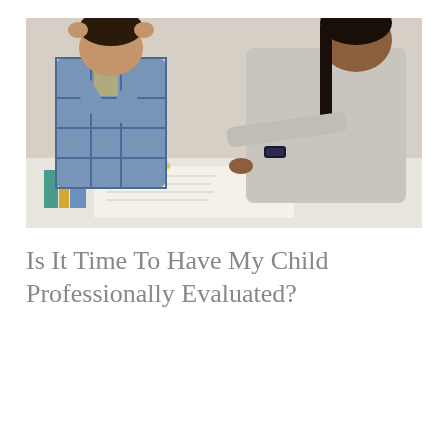[Figure (photo): A stressed young student with hands on head leaning over an open textbook, with an adult (tutor or parent) pointing at the book beside him. The student wears a blue/yellow plaid shirt. The adult wears a grey top and has a fitness tracker on the wrist.]
Is It Time To Have My Child Professionally Evaluated?